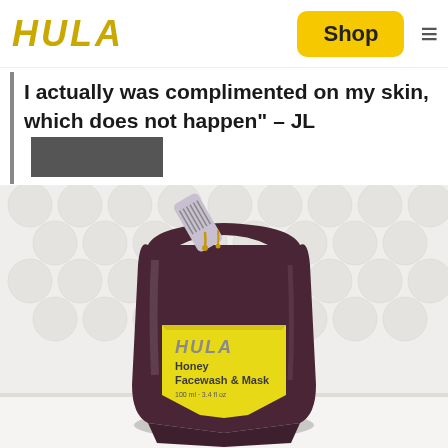HULA | Shop ≡
"I actually was complimented on my skin, which does not happen" – JL ████████
[Figure (photo): Product photo of HULA Honey Facewash & Mask in a dark pouch packaging with yellow label, set against a white hexagonal tile background]